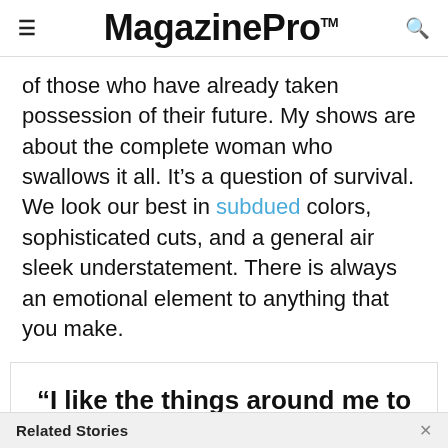MagazinePro™
of those who have already taken possession of their future. My shows are about the complete woman who swallows it all. It's a question of survival. We look our best in subdued colors, sophisticated cuts, and a general air sleek understatement. There is always an emotional element to anything that you make.
“I like the things around me to be beautiful & slightly dreamy, with a feeling of worldliness.”
Related Stories ×